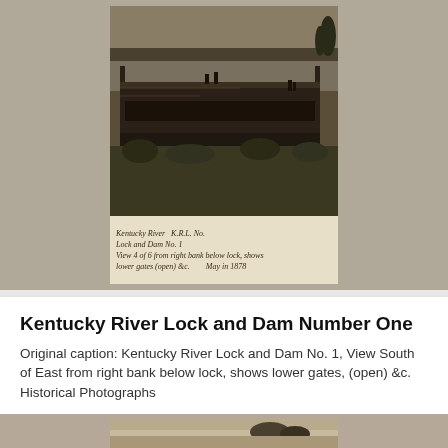[Figure (photo): Sepia-toned historical photograph of Kentucky River Lock and Dam No. 1, showing a view South of East from right bank below lock, with lower gates open. Several figures visible on the lock structure. Handwritten caption below the photo reads 'Kentucky River K.R.L. No. Lock and Dam No. 1, View 4 of 6 from right bank below lock, shows lower gates (open) &c. May in 1878'.]
Kentucky River Lock and Dam Number One
Original caption: Kentucky River Lock and Dam No. 1, View South of East from right bank below lock, shows lower gates, (open) &c. Historical Photographs
[Figure (photo): Partial view of a second sepia-toned historical photograph at the bottom of the page, showing a landscape with trees.]